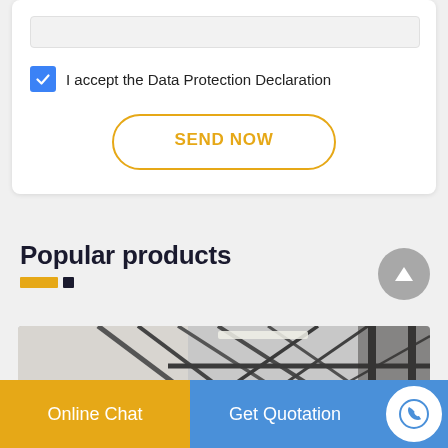I accept the Data Protection Declaration
SEND NOW
Popular products
[Figure (photo): Industrial warehouse or factory interior with steel scaffolding and structural beams]
Online Chat
Get Quotation